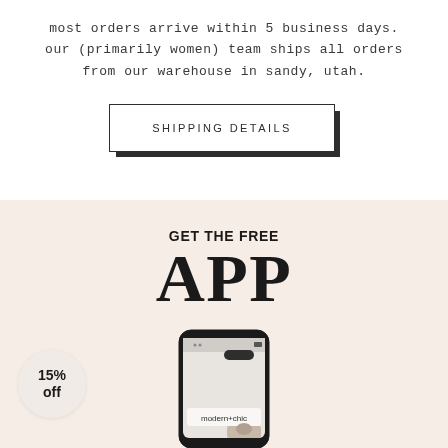most orders arrive within 5 business days. our (primarily women) team ships all orders from our warehouse in sandy, utah.
[Figure (other): Button with drop shadow reading SHIPPING DETAILS]
[Figure (infographic): Promotional section with beige/cream background showing text GET THE FREE APP with a phone mockup displaying modern+chic app and a 15% off badge]